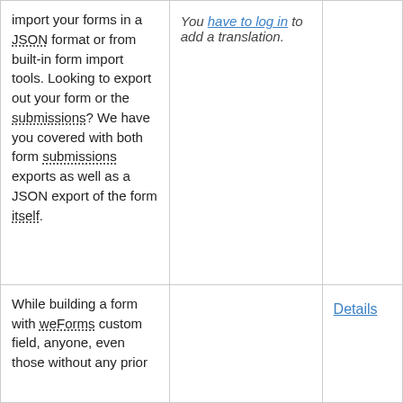import your forms in a JSON format or from built-in form import tools. Looking to export out your form or the submissions? We have you covered with both form submissions exports as well as a JSON export of the form itself.
You have to log in to add a translation.
While building a form with weForms custom field, anyone, even those without any prior
Details